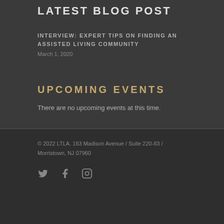LATEST BLOG POST
INTERVIEW: EXPERT TIPS ON FINDING AN ASSISTED LIVING COMMUNITY
March 1, 2020
UPCOMING EVENTS
There are no upcoming events at this time.
© 2022 LTLA. 163 Madison Avenue / Suite 220-83 / Morristown, NJ 07960
[Figure (illustration): Social media icons: Twitter bird, Facebook f, Instagram camera]